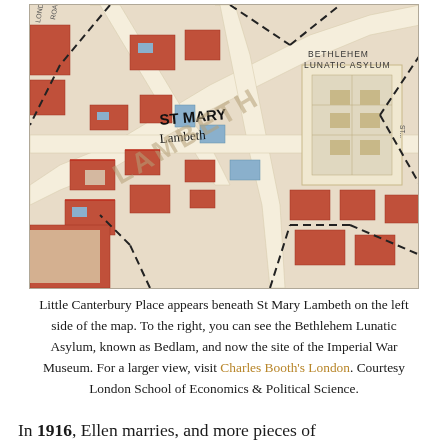[Figure (map): Historical map of Lambeth area in London showing St Mary Lambeth on the left side and Bethlehem Lunatic Asylum on the right side, with streets and buildings rendered in red, blue and beige tones with dashed boundary lines.]
Little Canterbury Place appears beneath St Mary Lambeth on the left side of the map. To the right, you can see the Bethlehem Lunatic Asylum, known as Bedlam, and now the site of the Imperial War Museum. For a larger view, visit Charles Booth's London. Courtesy London School of Economics & Political Science.
In 1916, Ellen marries, and more pieces of